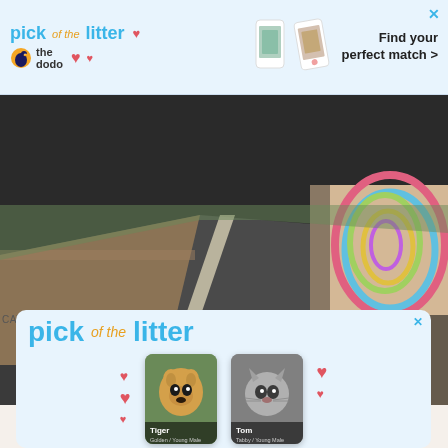[Figure (other): Top advertisement banner for 'Pick of the Litter' by The Dodo, with phone images and 'Find your perfect match >' text]
[Figure (photo): Road scene with dry grass on left and a dog hanging out of a vehicle on the right with colorful swirl art]
CATE BATTLES
ADVERTISEMENT
[Figure (other): Bottom advertisement for 'Pick of the Litter' showing two pet cards: Tiger (a corgi dog) and Tom (a cat) with heart decorations]